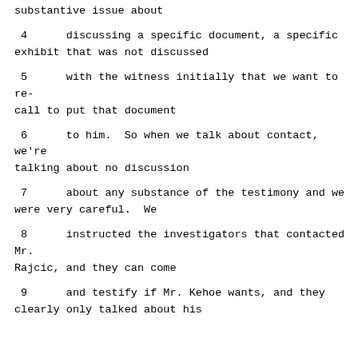substantive issue about
4      discussing a specific document, a specific exhibit that was not discussed
5      with the witness initially that we want to re-call to put that document
6      to him.  So when we talk about contact, we're talking about no discussion
7      about any substance of the testimony and we were very careful.  We
8      instructed the investigators that contacted Mr. Rajcic, and they can come
9      and testify if Mr. Kehoe wants, and they clearly only talked about his